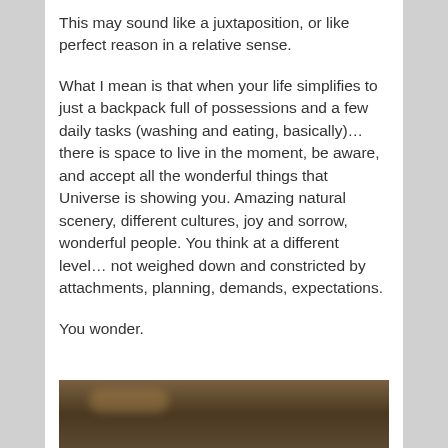This may sound like a juxtaposition, or like perfect reason in a relative sense.
What I mean is that when your life simplifies to just a backpack full of possessions and a few daily tasks (washing and eating, basically)… there is space to live in the moment, be aware, and accept all the wonderful things that Universe is showing you. Amazing natural scenery, different cultures, joy and sorrow, wonderful people. You think at a different level… not weighed down and constricted by attachments, planning, demands, expectations.
You wonder.
[Figure (photo): A partially visible photograph showing what appears to be an animal (possibly a lion or large cat) in a natural outdoor setting with blurred greenery in the background.]